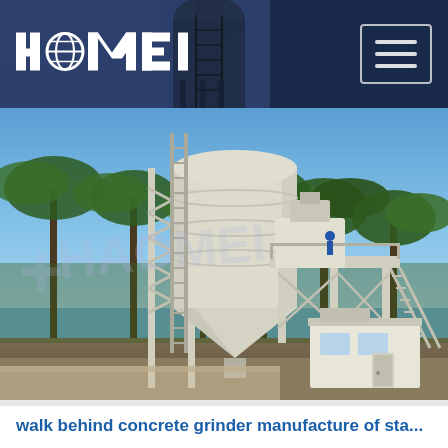HAOMEI
[Figure (photo): Outdoor photo of a concrete batching plant installation with a large cylindrical cement silo on a steel frame tower, a mixing unit with stairs and platform, a control room cabin, surrounded by palm trees under a blue sky. HAOMEI watermark visible on image.]
walk behind concrete grinder manufacture of sta...